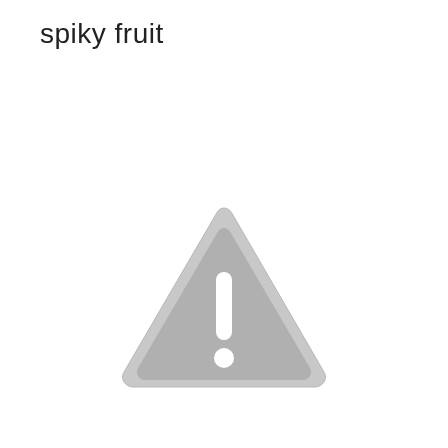spiky fruit
[Figure (illustration): A gray warning/caution triangle icon with rounded corners, containing a white exclamation mark (vertical bar and dot below), centered in the lower half of the page.]